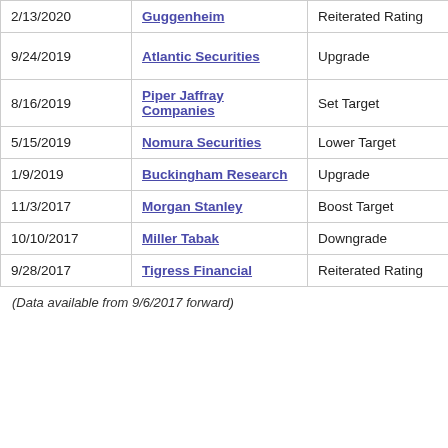| Date | Firm | Action | Rating |
| --- | --- | --- | --- |
| 2/13/2020 | Guggenheim | Reiterated Rating | Hold |
| 9/24/2019 | Atlantic Securities | Upgrade | Neutral → Overweight |
| 8/16/2019 | Piper Jaffray Companies | Set Target | Hold |
| 5/15/2019 | Nomura Securities | Lower Target | Neutral |
| 1/9/2019 | Buckingham Research | Upgrade | Neutral → |
| 11/3/2017 | Morgan Stanley | Boost Target | Equal Weight |
| 10/10/2017 | Miller Tabak | Downgrade | Hold → Se |
| 9/28/2017 | Tigress Financial | Reiterated Rating | Hold |
(Data available from 9/6/2017 forward)